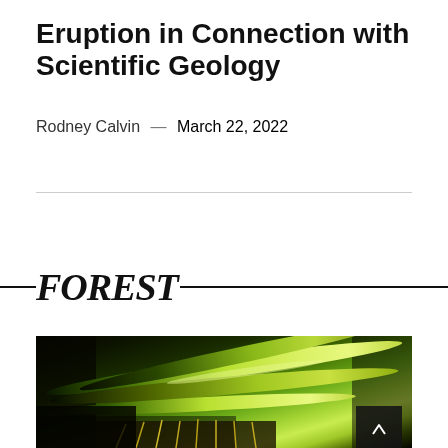Eruption in Connection with Scientific Geology
Rodney Calvin — March 22, 2022
FOREST
[Figure (photo): Close-up macro photograph of a cactus or succulent plant with elongated green spines/needles against a dark background, with thorns visible at the base]